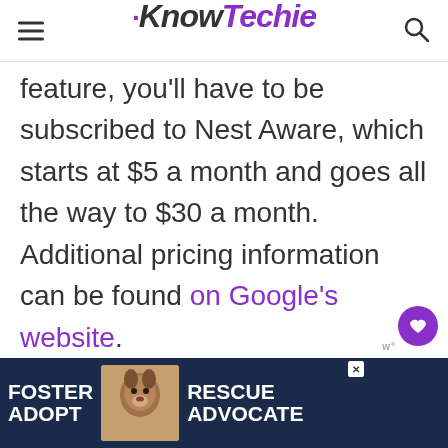KnowTechie
feature, you'll have to be subscribed to Nest Aware, which starts at $5 a month and goes all the way to $30 a month. Additional pricing information can be found on Google's website.
[Figure (photo): Advertisement banner with dark blue background showing text FOSTER ADOPT on left, a beagle dog photo in center, and RESCUE ADVOCATE on right]